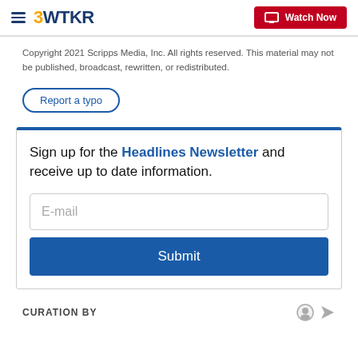3WTKR | Watch Now
Copyright 2021 Scripps Media, Inc. All rights reserved. This material may not be published, broadcast, rewritten, or redistributed.
Report a typo
Sign up for the Headlines Newsletter and receive up to date information.
E-mail
Submit
CURATION BY